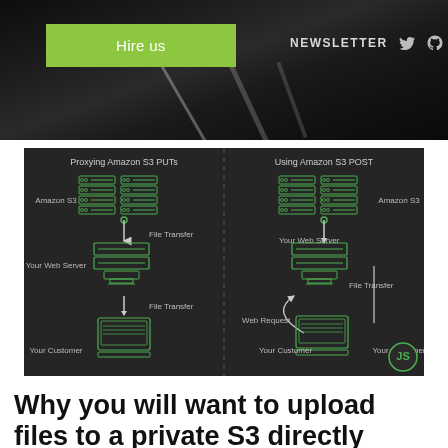Hire us | NEWSLETTER
[Figure (infographic): Diagram comparing two approaches: 'Proxying Amazon S3 PUTs' (left) showing file transfer going through Your Web Server, then to Amazon S3, then back from Your Customer via File Transfer; and 'Using Amazon S3 POST' (right) showing Your Customer sending a Web Request to Your Web Server, then File Transfer goes directly to Amazon S3. Both diagrams use green server and laptop icons on dark background.]
Why you will want to upload files to a private S3 directly